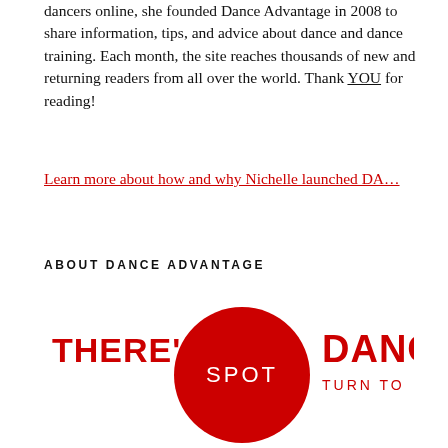dancers online, she founded Dance Advantage in 2008 to share information, tips, and advice about dance and dance training. Each month, the site reaches thousands of new and returning readers from all over the world. Thank YOU for reading!
Learn more about how and why Nichelle launched DA…
ABOUT DANCE ADVANTAGE
[Figure (logo): Dance Advantage logo: red bold text 'THERE'S A' on left, large red circle with white text 'SPOT' in the center, and red bold text 'DANCERS' with smaller 'TURN TO' below on the right]